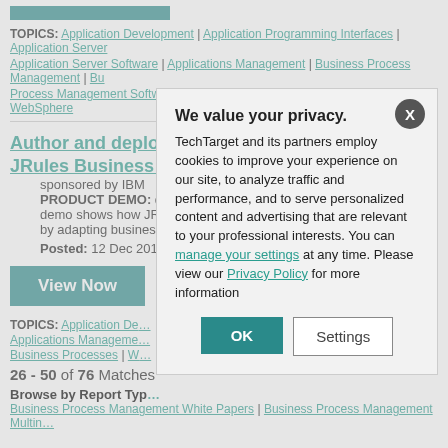TOPICS: Application Development | Application Programming Interfaces | Application Server | Application Server Software | Applications Management | Business Process Management | Business Process Management Software | Business Processes | Regulatory Compliance | WebSphere
Author and deploy rules using WebSphere ILOG JRules Business Rules Management System
sponsored by IBM
PRODUCT DEMO: decision making for ... demo shows how JR... by adapting busines...
Posted: 12 Dec 201...
View Now
TOPICS: Application De... | Applications Manageme... | Business Processes | W...
26 - 50 of 76 Matches
Browse by Report Type
Business Process Management White Papers | Business Process Management Multin...
We value your privacy. TechTarget and its partners employ cookies to improve your experience on our site, to analyze traffic and performance, and to serve personalized content and advertising that are relevant to your professional interests. You can manage your settings at any time. Please view our Privacy Policy for more information
OK
Settings